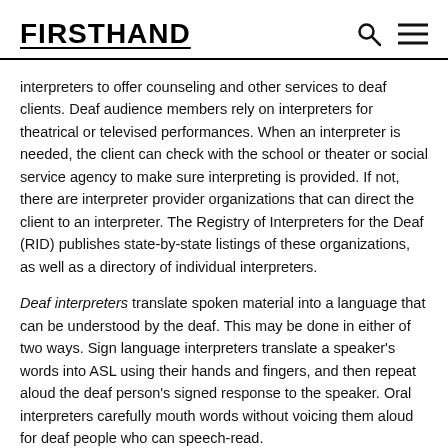FIRSTHAND
interpreters to offer counseling and other services to deaf clients. Deaf audience members rely on interpreters for theatrical or televised performances. When an interpreter is needed, the client can check with the school or theater or social service agency to make sure interpreting is provided. If not, there are interpreter provider organizations that can direct the client to an interpreter. The Registry of Interpreters for the Deaf (RID) publishes state-by-state listings of these organizations, as well as a directory of individual interpreters.
Deaf interpreters translate spoken material into a language that can be understood by the deaf. This may be done in either of two ways. Sign language interpreters translate a speaker's words into ASL using their hands and fingers, and then repeat aloud the deaf person's signed response to the speaker. Oral interpreters carefully mouth words without voicing them aloud for deaf people who can speech-read.